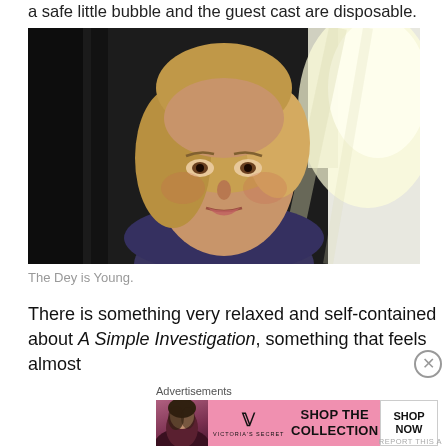a safe little bubble and the guest cast are disposable.
[Figure (photo): Close-up of a blonde woman looking toward camera, backlit by bright light from a window, wearing a dark top. Film still.]
The Dey is Young.
There is something very relaxed and self-contained about A Simple Investigation, something that feels almost
Advertisements
[Figure (other): Victoria's Secret advertisement banner: model with curly hair on left, VS logo, text 'SHOP THE COLLECTION', white button 'SHOP NOW' on pink background]